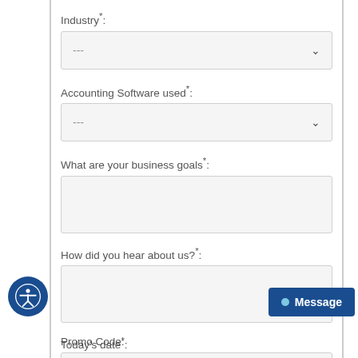Industry*:
[Figure (screenshot): Dropdown field with placeholder '---' and chevron arrow, for Industry selection]
Accounting Software used*:
[Figure (screenshot): Dropdown field with placeholder '---' and chevron arrow, for Accounting Software used]
What are your business goals*:
[Figure (screenshot): Textarea input box for business goals]
How did you hear about us?*:
[Figure (screenshot): Textarea input box for how did you hear about us]
Promo Code:
[Figure (screenshot): Text input box for promo code]
Today's date*: